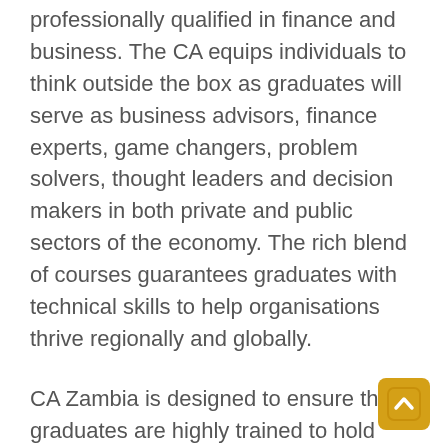professionally qualified in finance and business. The CA equips individuals to think outside the box as graduates will serve as business advisors, finance experts, game changers, problem solvers, thought leaders and decision makers in both private and public sectors of the economy. The rich blend of courses guarantees graduates with technical skills to help organisations thrive regionally and globally.
CA Zambia is designed to ensure that graduates are highly trained to hold innumerable senior and advisory roles in both private and public sectors of the economy. A CA can be a Finance Manager, Senior Auditor, Tax Manager, Financial Analyst, Finance Director, Audit Senior, Chief Financial Officer,